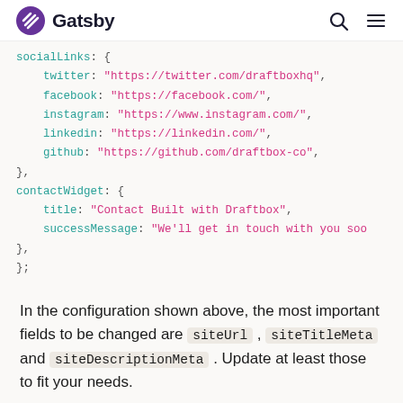Gatsby
socialLinks: {
  twitter: "https://twitter.com/draftboxhq",
  facebook: "https://facebook.com/",
  instagram: "https://www.instagram.com/",
  linkedin: "https://linkedin.com/",
  github: "https://github.com/draftbox-co",
},
contactWidget: {
  title: "Contact Built with Draftbox",
  successMessage: "We'll get in touch with you soo
},
};
In the configuration shown above, the most important fields to be changed are siteUrl , siteTitleMeta and siteDescriptionMeta . Update at least those to fit your needs.